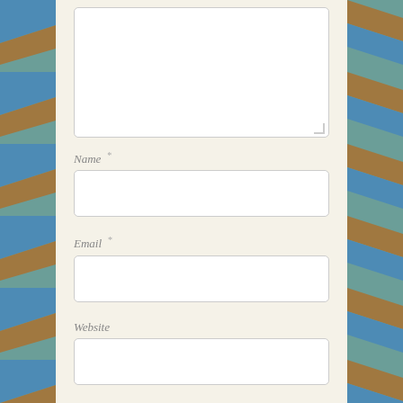[Figure (illustration): Comment form UI with decorative diagonal blue and tan stripe border on left and right sides, cream/off-white center panel with form fields]
Name *
Email *
Website
POST COMMENT